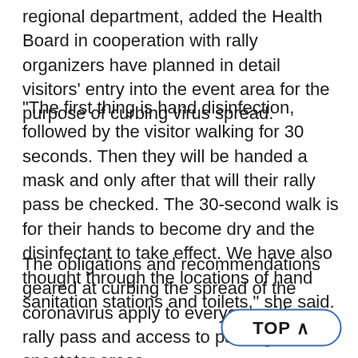regional department, added the Health Board in cooperation with rally organizers have planned in detail visitors' entry into the event area for the purpose of curbing virus spread.
"The first thing is hand disinfection, followed by the visitor walking for 30 seconds. Then they will be handed a mask and only after that will their rally pass be checked. The 30-second walk is for their hands to become dry and the disinfectant to take effect. We have also thought through the locations of hand sanitation stations and toilets," she said.
The obligations and recommendations geared at curbing the spread of the coronavirus apply to everyone with a rally pass and access to parking and spectator areas.